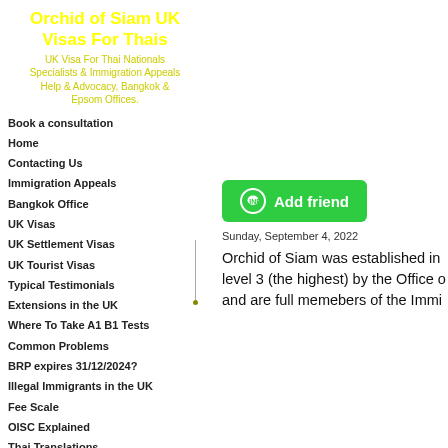Orchid of Siam UK Visas For Thais
UK Visa For Thai Nationals Specialists & Immigration Appeals Help & Advocacy, Bangkok & Epsom Offices.
Book a consultation
Home
Contacting Us
Immigration Appeals
Bangkok Office
UK Visas
UK Settlement Visas
UK Tourist Visas
Typical Testimonials
Extensions in the UK
Where To Take A1 B1 Tests
Common Problems
BRP expires 31/12/2024?
Illegal Immigrants in the UK
Fee Scale
OISC Explained
Thai Translations
[Figure (other): Green Add friend button with LINE icon]
Sunday, September 4, 2022
Orchid of Siam was established in level 3 (the highest) by the Office of and are full memebers of the Immi